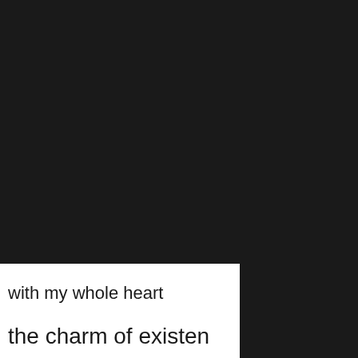[Figure (photo): Mostly black/dark background occupying the upper and right portions of the page]
with my whole heart
the charm of existen